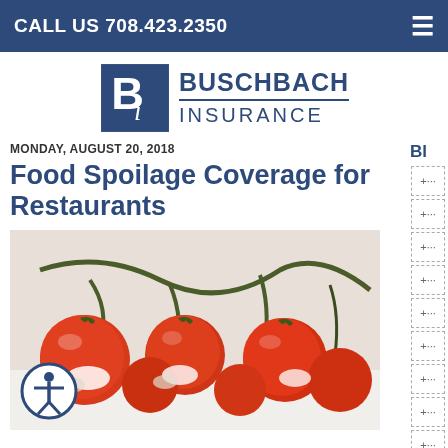CALL US 708.423.2350
[Figure (logo): Buschbach Insurance logo with stylized 'Bi' monogram and text 'BUSCHBACH INSURANCE']
MONDAY, AUGUST 20, 2018
Food Spoilage Coverage for Restaurants
[Figure (photo): Close-up photo of moldy cherry tomatoes on the vine in a white container]